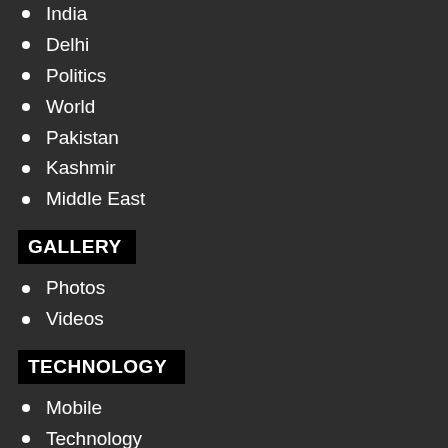India
Delhi
Politics
World
Pakistan
Kashmir
Middle East
GALLERY
Photos
Videos
TECHNOLOGY
Mobile
Technology